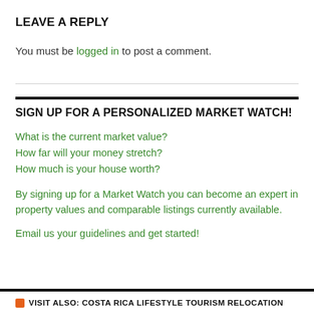LEAVE A REPLY
You must be logged in to post a comment.
SIGN UP FOR A PERSONALIZED MARKET WATCH!
What is the current market value?
How far will your money stretch?
How much is your house worth?
By signing up for a Market Watch you can become an expert in property values and comparable listings currently available.
Email us your guidelines and get started!
VISIT ALSO: COSTA RICA LIFESTYLE TOURISM RELOCATION